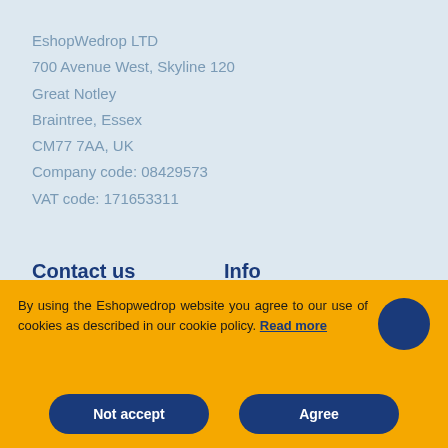EshopWedrop LTD
700 Avenue West, Skyline 120
Great Notley
Braintree, Essex
CM77 7AA, UK
Company code: 08429573
VAT code: 171653311
Contact us
Whitehouse Solutions c/o
Info
About Us
By using the Eshopwedrop website you agree to our use of cookies as described in our cookie policy. Read more
Not accept
Agree